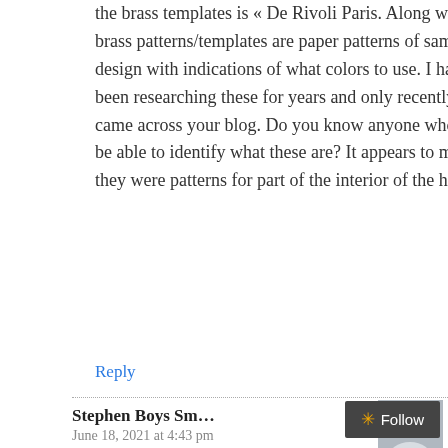the brass templates is « De Rivoli Paris. Along with the brass patterns/templates are paper patterns of same design with indications of what colors to use. I have been researching these for years and only recently came across your blog. Do you know anyone who may be able to identify what these are? It appears to me they were patterns for part of the interior of the hotel.
Reply
Stephen Boys Sm...
June 18, 2021 at 4:43 pm
[Figure (illustration): User avatar placeholder — grey silhouette of a person on grey background]
Follow